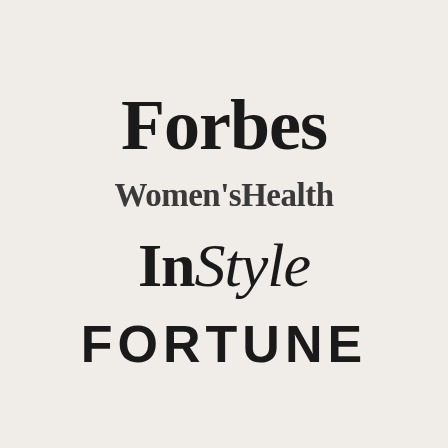[Figure (logo): Forbes magazine logo in large bold serif font]
[Figure (logo): Women's Health magazine logo in bold condensed serif font]
[Figure (logo): InStyle magazine logo in serif font with bold 'In' and italic 'Style']
[Figure (logo): Fortune magazine logo in large bold uppercase sans-serif font with wide letter spacing]